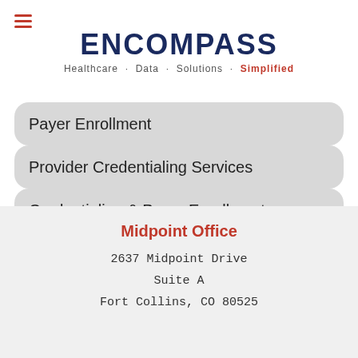ENCOMPASS — Healthcare · Data · Solutions · Simplified
Payer Enrollment
Provider Credentialing Services
Credentialing & Payer Enrollment Risk Assessment
Midpoint Office
2637 Midpoint Drive
Suite A
Fort Collins, CO 80525